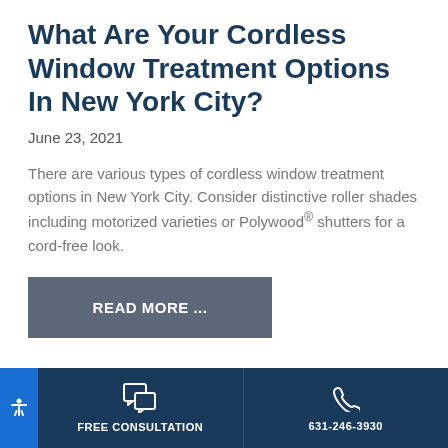What Are Your Cordless Window Treatment Options In New York City?
June 23, 2021
There are various types of cordless window treatment options in New York City. Consider distinctive roller shades including motorized varieties or Polywood® shutters for a cord-free look.
READ MORE ...
What Custom Window
FREE CONSULTATION | 631-246-3930